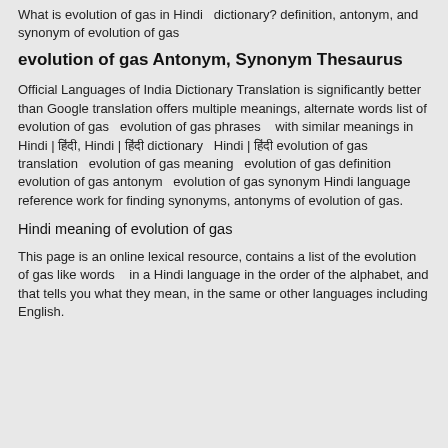What is evolution of gas in Hindi   dictionary? definition, antonym, and synonym of evolution of gas
evolution of gas Antonym, Synonym Thesaurus
Official Languages of India Dictionary Translation is significantly better than Google translation offers multiple meanings, alternate words list of evolution of gas   evolution of gas phrases    with similar meanings in Hindi | हिंदी, Hindi | हिंदी dictionary   Hindi | हिंदी evolution of gas translation   evolution of gas meaning   evolution of gas definition   evolution of gas antonym   evolution of gas synonym Hindi language reference work for finding synonyms, antonyms of evolution of gas.
Hindi meaning of evolution of gas
This page is an online lexical resource, contains a list of the evolution of gas like words    in a Hindi language in the order of the alphabet, and that tells you what they mean, in the same or other languages including English.